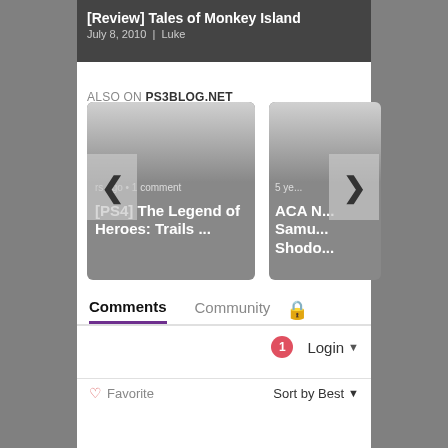[Review] Tales of Monkey Island | July 8, 2010 | Luke
ALSO ON PS3BLOG.NET
[Figure (screenshot): Carousel widget showing two article cards: left card '[PS4] The Legend of Heroes: Trails ...' with '... years ago • 1 comment', right card 'ACA N... Samu... Shodo...' with '5 ye...'. Navigation chevron buttons on sides.]
Comments
Community
1 Login ▾
♡ Favorite
Sort by Best ▾